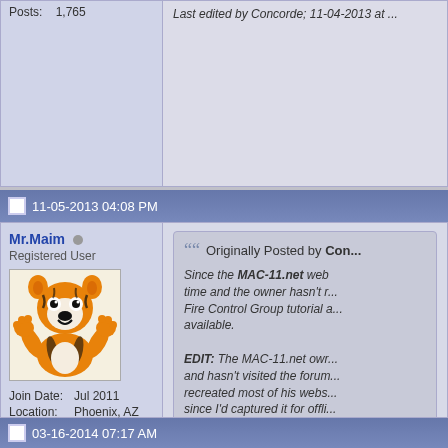Posts:   1,765
Last edited by Concorde; 11-04-2013 at ...
11-05-2013 04:08 PM
Mr.Maim
Registered User
[Figure (illustration): Cartoon tiger avatar (Hobbes-style character) with orange and black stripes, white belly, large eyes, waving both paws]
Join Date: Jul 2011
Location: Phoenix, AZ
Posts: 369
Originally Posted by Con...
Since the MAC-11.net web time and the owner hasn't r... Fire Control Group tutorial a... available.

EDIT: The MAC-11.net owr... and hasn't visited the forum... recreated most of his webs... since I'd captured it for offli... until his old website comes ...
THANK YOU Concorde! That site h... disassembly and reassembly of th... down. A great resource.
03-16-2014 07:17 AM